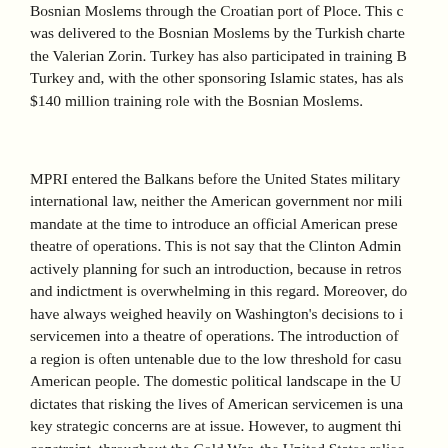Bosnian Moslems through the Croatian port of Ploce. This cargo was delivered to the Bosnian Moslems by the Turkish chartered ship the Valerian Zorin. Turkey has also participated in training Bosnian Turkey and, with the other sponsoring Islamic states, has also a $140 million training role with the Bosnian Moslems.
MPRI entered the Balkans before the United States military international law, neither the American government nor military had mandate at the time to introduce an official American presence in the theatre of operations. This is not say that the Clinton Administration actively planning for such an introduction, because in retrospect and indictment is overwhelming in this regard. Moreover, domestic concerns have always weighed heavily on Washington's decisions to introduce servicemen into a theatre of operations. The introduction of troops into a region is often untenable due to the low threshold for casualties among the American people. The domestic political landscape in the United States dictates that risking the lives of American servicemen is unacceptable unless key strategic concerns are at issue. However, to augment this domestic constraint, throughout the Cold War, the United States relied on government proxies as a means to achieve strategic ends in various parts of the world. Examples of such proxies would be the Mujahadeen Contras in Nicaragua and numerous other threats in the